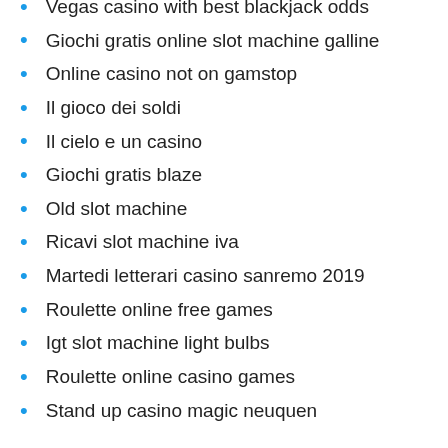Vegas casino with best blackjack odds
Giochi gratis online slot machine galline
Online casino not on gamstop
Il gioco dei soldi
Il cielo e un casino
Giochi gratis blaze
Old slot machine
Ricavi slot machine iva
Martedi letterari casino sanremo 2019
Roulette online free games
Igt slot machine light bulbs
Roulette online casino games
Stand up casino magic neuquen